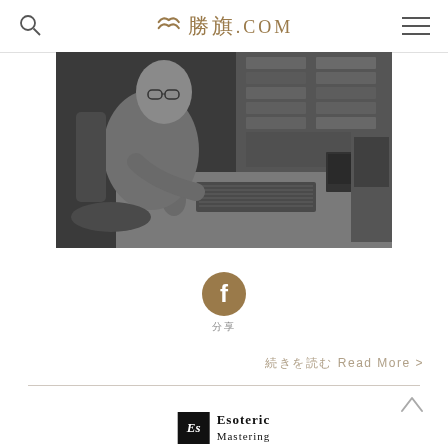勝旗.COM
[Figure (photo): Black and white photo of a man wearing glasses sitting at a music/audio production desk with multiple equipment racks, a keyboard and computer setup]
[Figure (logo): Facebook icon circle in tan/brown color]
分享
続きを読む Read More >
[Figure (logo): Esoteric Mastering logo — black square with italic Es letters and Esoteric Mastering text]